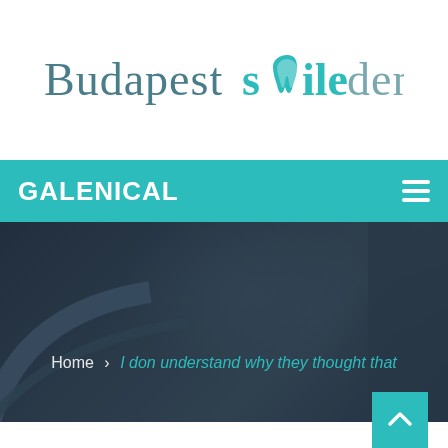[Figure (logo): Budapest Smile Dental logo — 'Budapest' in teal/grey serif, 'smile' in teal with a tooth icon as the 'o', 'dental' in grey]
GALENICAL
[Figure (photo): Dark blueish-grey background photo of dental tools/equipment in a blurred/dimmed hero banner]
Home › I don understand why they thought that